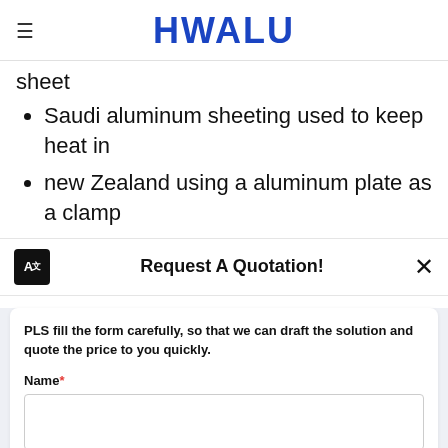HWALU
sheet
Saudi aluminum sheeting used to keep heat in
new Zealand using a aluminum plate as a clamp
Request A Quotation!
PLS fill the form carefully, so that we can draft the solution and quote the price to you quickly.
Name*
E-mail*